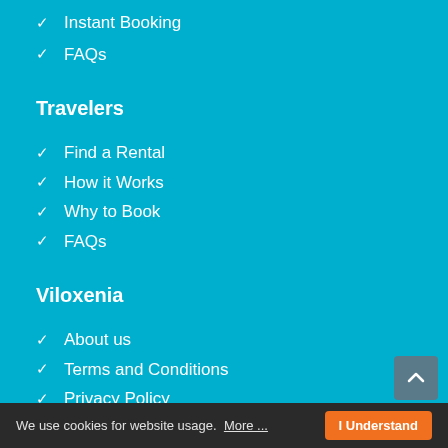Instant Booking
FAQs
Travelers
Find a Rental
How it Works
Why to Book
FAQs
Viloxenia
About us
Terms and Conditions
Privacy Policy
Contact us
We use cookies for website usage. More ... I Understand